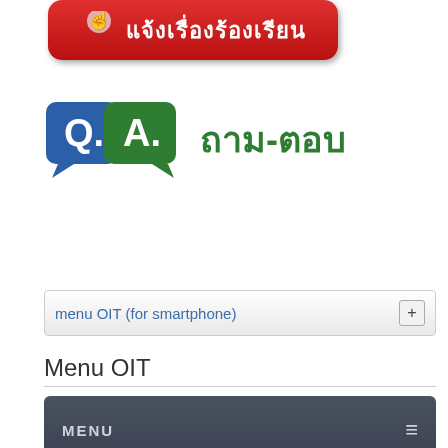[Figure (illustration): Red rounded button with hand/cursor icon and Thai text แจ้งเรื่องร้องเรียน (complaint button)]
[Figure (illustration): Q&A icon with blue Q bubble and green A bubble followed by Thai text ถาม-ตอบ (ask-answer)]
menu OIT (for smartphone)
Menu OIT
[Figure (screenshot): Dark grey navigation bar with MENU label and hamburger icon (≡)]
กรมการกงสุล กระทรวงการต่างประเทศ
[Figure (illustration): Green bar at bottom of page]